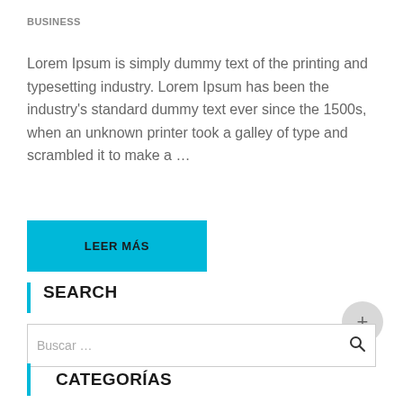BUSINESS
Lorem Ipsum is simply dummy text of the printing and typesetting industry. Lorem Ipsum has been the industry's standard dummy text ever since the 1500s, when an unknown printer took a galley of type and scrambled it to make a …
LEER MÁS
SEARCH
Buscar …
CATEGORÍAS